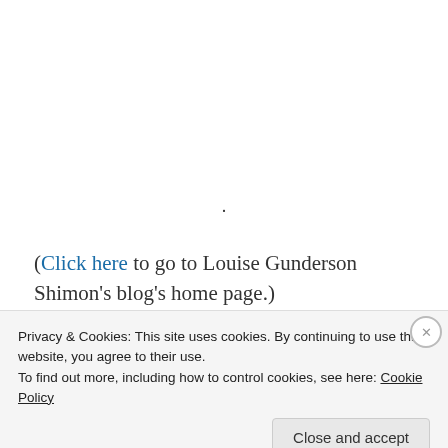.
(Click here to go to Louise Gunderson Shimon's blog's home page.)
February 20, 2011    💬 2 Replies
(Pretending to) Get Married in
Privacy & Cookies: This site uses cookies. By continuing to use this website, you agree to their use.
To find out more, including how to control cookies, see here: Cookie Policy
Close and accept